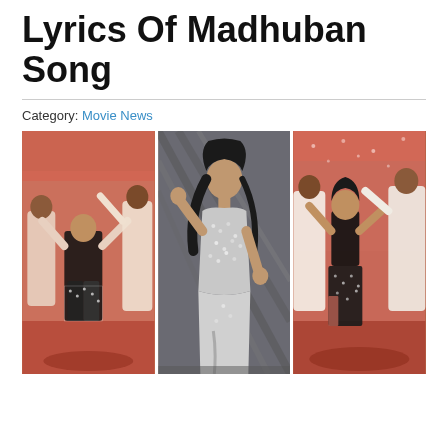Lyrics Of Madhuban Song
Category: Movie News
[Figure (photo): Three photos of a Bollywood actress performing a dance number. Left: actress in black sequin outfit dancing with backup dancers on a red-lit stage. Center: actress in silver sequin dress posing indoors. Right: actress in black sequin outfit dancing with male backup dancers.]